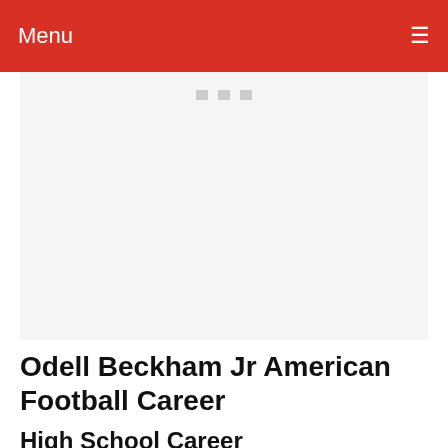Menu
[Figure (other): Image placeholder with three small gray square icons at the top center on a light gray background]
Odell Beckham Jr American Football Career
High School Career
He started playing football from his junior years, raking in numbers as a junior and as a senior,